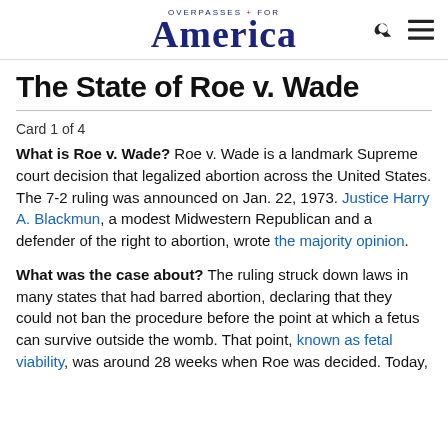OVERPASSES FOR America
The State of Roe v. Wade
Card 1 of 4
What is Roe v. Wade? Roe v. Wade is a landmark Supreme court decision that legalized abortion across the United States. The 7-2 ruling was announced on Jan. 22, 1973. Justice Harry A. Blackmun, a modest Midwestern Republican and a defender of the right to abortion, wrote the majority opinion.
What was the case about? The ruling struck down laws in many states that had barred abortion, declaring that they could not ban the procedure before the point at which a fetus can survive outside the womb. That point, known as fetal viability, was around 28 weeks when Roe was decided. Today,